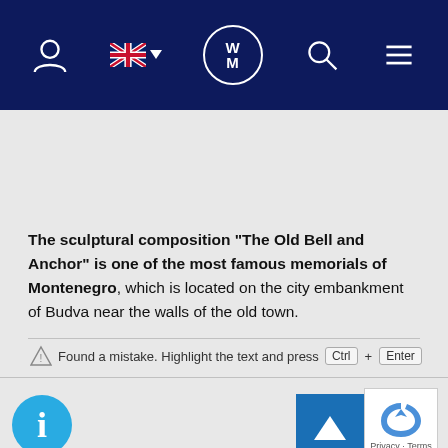[Figure (screenshot): Website navigation bar with dark navy blue background containing: person/user icon, UK flag with dropdown arrow, WM logo in circle, search magnifier icon, and hamburger menu icon]
The sculptural composition "The Old Bell and Anchor" is one of the most famous memorials of Montenegro, which is located on the city embankment of Budva near the walls of the old town.
Found a mistake. Highlight the text and press Ctrl + Enter
[Figure (screenshot): Bottom bar with blue info circle icon on left, and back-to-top arrow button and reCAPTCHA logo on right with Privacy and Terms text]